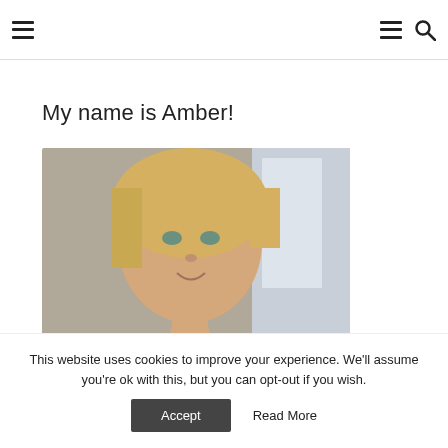Navigation bar with hamburger menu, menu icon, and search icon
My name is Amber!
[Figure (photo): Portrait photo of a blonde woman smiling, wearing a black top, indoors with light background]
This website uses cookies to improve your experience. We'll assume you're ok with this, but you can opt-out if you wish.
Accept   Read More